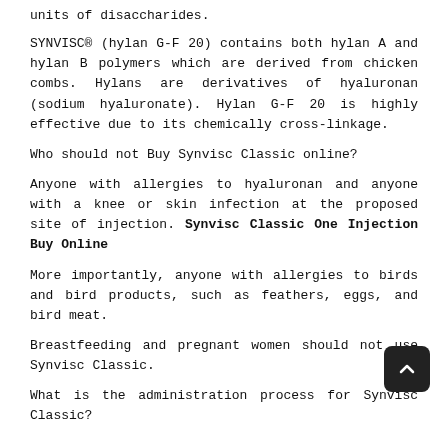units of disaccharides.
SYNVISC® (hylan G-F 20) contains both hylan A and hylan B polymers which are derived from chicken combs. Hylans are derivatives of hyaluronan (sodium hyaluronate). Hylan G-F 20 is highly effective due to its chemically cross-linkage.
Who should not Buy Synvisc Classic online?
Anyone with allergies to hyaluronan and anyone with a knee or skin infection at the proposed site of injection. Synvisc Classic One Injection Buy Online
More importantly, anyone with allergies to birds and bird products, such as feathers, eggs, and bird meat.
Breastfeeding and pregnant women should not use Synvisc Classic.
What is the administration process for Synvisc Classic?